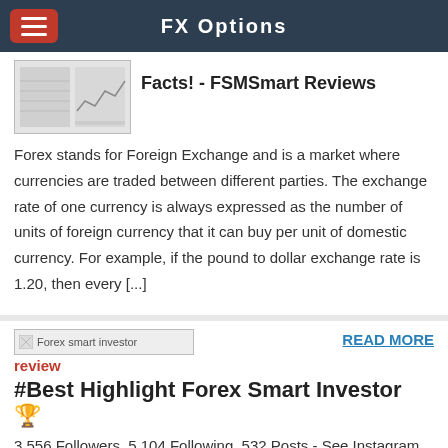FX Options
[Figure (screenshot): Thumbnail image of a chart or table from FSMSmart Reviews article]
Facts! - FSMSmart Reviews
Forex stands for Foreign Exchange and is a market where currencies are traded between different parties. The exchange rate of one currency is always expressed as the number of units of foreign currency that it can buy per unit of domestic currency. For example, if the pound to dollar exchange rate is 1.20, then every [...]
[Figure (screenshot): Forex smart investor review image placeholder]
READ MORE
#Best Highlight Forex Smart Investor 🏆
3,556 Followers, 5,104 Following, 532 Posts - See Instagram photos and videos from Forex Smart investor (@forexsmartinvestor)